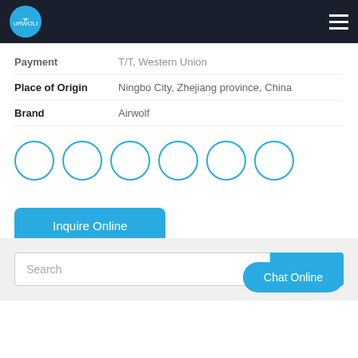Airwolf logo and navigation bar
Payment    T/T, Western Union
Place of Origin    Ningbo City, Zhejiang province, China
Brand    Airwolf
[Figure (other): Six empty circle thumbnail placeholders with blue outlines]
Inquire Online
Search
Chat Online